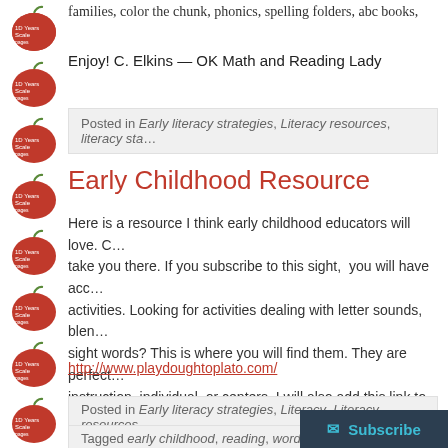[Figure (illustration): Vertical strip of red apple icons along the left side of the page]
families, color the chunk, phonics, spelling folders, abc books,
Enjoy!  C. Elkins — OK Math and Reading Lady
Posted in Early literacy strategies, Literacy resources, literacy sta...
Early Childhood Resource
Here is a resource I think early childhood educators will love. C... take you there. If you subscribe to this sight,  you will have acc... activities. Looking for activities dealing with letter sounds, blen... sight words? This is where you will find them. They are perfect... instruction, individual, or centers. I will also add this link to my...
http://www.playdoughtoplato.com/
Posted in Early literacy strategies, Literacy, Literacy resources
Tagged early childhood, reading, word work